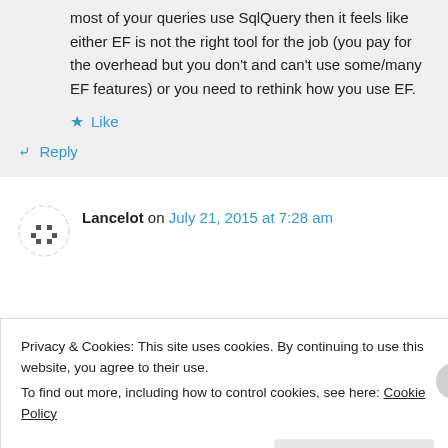most of your queries use SqlQuery then it feels like either EF is not the right tool for the job (you pay for the overhead but you don't and can't use some/many EF features) or you need to rethink how you use EF.
Like
Reply
Lancelot on July 21, 2015 at 7:28 am
Privacy & Cookies: This site uses cookies. By continuing to use this website, you agree to their use.
To find out more, including how to control cookies, see here: Cookie Policy
Close and accept